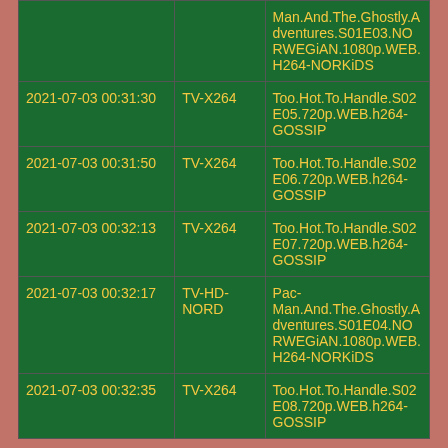|  |  | Man.And.The.Ghostly.Adventures.S01E03.NORWEGiAN.1080p.WEB.H264-NORKiDS |
| 2021-07-03 00:31:30 | TV-X264 | Too.Hot.To.Handle.S02E05.720p.WEB.h264-GOSSIP |
| 2021-07-03 00:31:50 | TV-X264 | Too.Hot.To.Handle.S02E06.720p.WEB.h264-GOSSIP |
| 2021-07-03 00:32:13 | TV-X264 | Too.Hot.To.Handle.S02E07.720p.WEB.h264-GOSSIP |
| 2021-07-03 00:32:17 | TV-HD-NORD | Pac-Man.And.The.Ghostly.Adventures.S01E04.NORWEGiAN.1080p.WEB.H264-NORKiDS |
| 2021-07-03 00:32:35 | TV-X264 | Too.Hot.To.Handle.S02E08.720p.WEB.h264-GOSSIP |